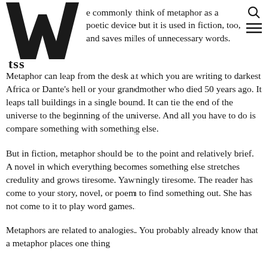[Figure (logo): Large stylized 'W' letterform logo in black with 'tss' beneath it, representing a publication or website brand mark]
e commonly think of metaphor as a poetic device but it is used in fiction, too, and saves miles of unnecessary words. Metaphor can leap from the desk at which you are writing to darkest Africa or Dante’s hell or your grandmother who died 50 years ago. It leaps tall buildings in a single bound. It can tie the end of the universe to the beginning of the universe. And all you have to do is compare something with something else.
But in fiction, metaphor should be to the point and relatively brief. A novel in which everything becomes something else stretches credulity and grows tiresome. Yawningly tiresome. The reader has come to your story, novel, or poem to find something out. She has not come to it to play word games.
Metaphors are related to analogies. You probably already know that a metaphor places one thing